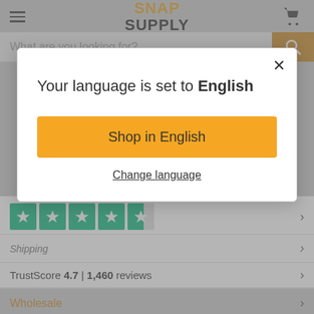[Figure (screenshot): Snap Supply e-commerce website header with hamburger menu, logo, and cart icon]
What are you looking for?
[Figure (screenshot): Modal dialog with language selection: 'Your language is set to English', 'Shop in English' button, and 'Change language' link]
Your language is set to English
Shop in English
Change language
[Figure (infographic): Trustpilot 5-star rating graphic with green star boxes, 4.5 stars shown]
TrustScore 4.7 | 1,460 reviews
Wholesale